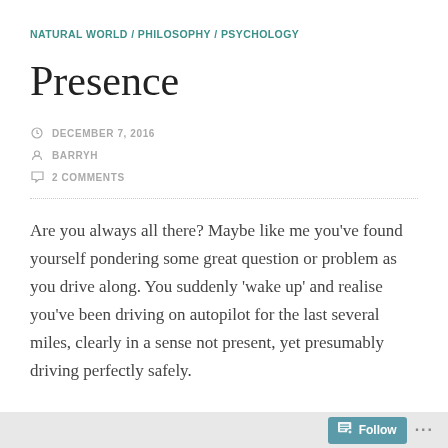NATURAL WORLD / PHILOSOPHY / PSYCHOLOGY
Presence
DECEMBER 7, 2016
BARRYH
2 COMMENTS
Are you always all there? Maybe like me you've found yourself pondering some great question or problem as you drive along. You suddenly 'wake up' and realise you've been driving on autopilot for the last several miles, clearly in a sense not present, yet presumably driving perfectly safely.